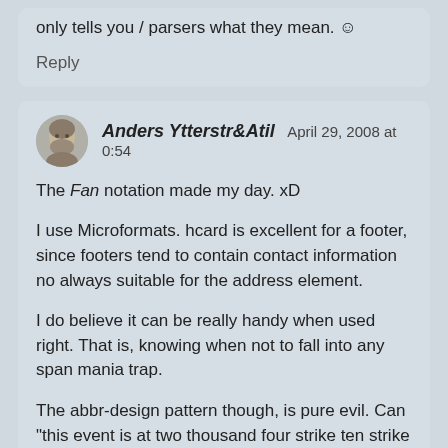only tells you / parsers what they mean. :)
Reply
Anders Ytterstr&Atil  April 29, 2008 at 0:54
The Fan notation made my day. xD
I use Microformats. hcard is excellent for a footer, since footers tend to contain contact information no always suitable for the address element.
I do believe it can be really handy when used right. That is, knowing when not to fall into any span mania trap.
The abbr-design pattern though, is pure evil. Can "this event is at two thousand four strike ten strike twenty one tee zero eight zero zero" really be at any help for